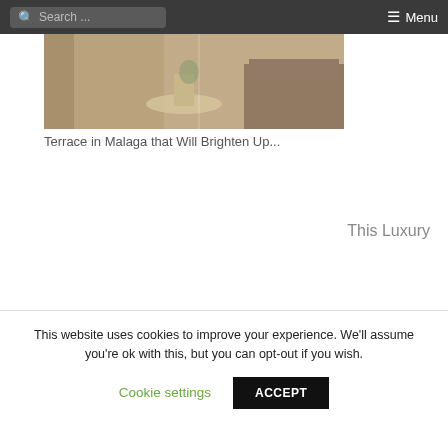Search ... ☰ Menu
[Figure (photo): Interior photo showing a terrace or living space with natural light, a round table with plants and books, and a sofa with cushions]
Terrace in Malaga that Will Brighten Up...
This Luxury
This website uses cookies to improve your experience. We'll assume you're ok with this, but you can opt-out if you wish.
Cookie settings   ACCEPT